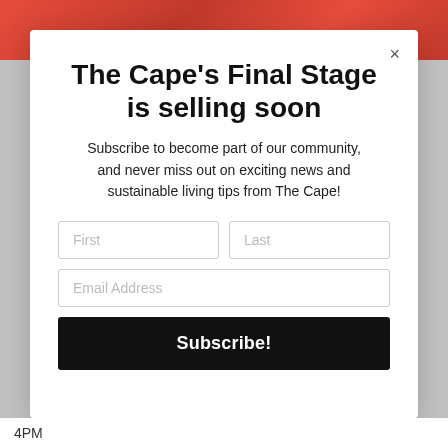[Figure (photo): Background image showing red tomatoes with 'the' text overlay visible at top]
The Cape's Final Stage is selling soon
Subscribe to become part of our community, and never miss out on exciting news and sustainable living tips from The Cape!
First | Last | Email Address | Subscribe!
4PM